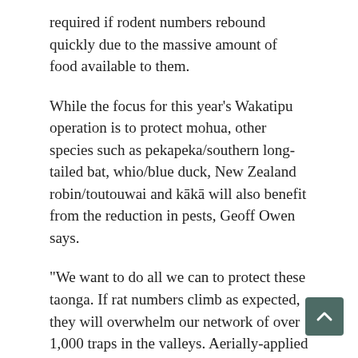required if rodent numbers rebound quickly due to the massive amount of food available to them.
While the focus for this year's Wakatipu operation is to protect mohua, other species such as pekapeka/southern long-tailed bat, whio/blue duck, New Zealand robin/toutouwai and kākā will also benefit from the reduction in pests, Geoff Owen says.
"We want to do all we can to protect these taonga. If rat numbers climb as expected, they will overwhelm our network of over 1,000 traps in the valleys. Aerially-applied 1080 is the most effective way of knocking down predators to enable a successful breeding season for our birds."
The pest control operation over about 19,000ha will commence during the first period of good weather after 1 August and will occur over two separate days. On the first day, non-toxic pre-feed pellets will be laid to